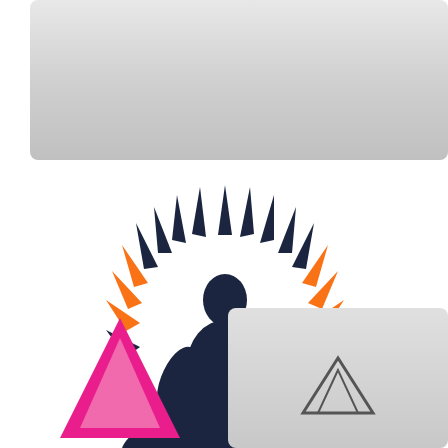[Figure (logo): Gray gradient rectangular banner at top of page]
[Figure (logo): Yoga/meditation logo: dark navy blue silhouette of a person sitting in lotus meditation pose, surrounded by alternating dark navy and orange radiating spike/ray shapes forming a halo around the figure]
[Figure (logo): Gray gradient card in bottom right corner, partially visible]
[Figure (logo): Pink/magenta triangle logo shape in bottom left, partially visible]